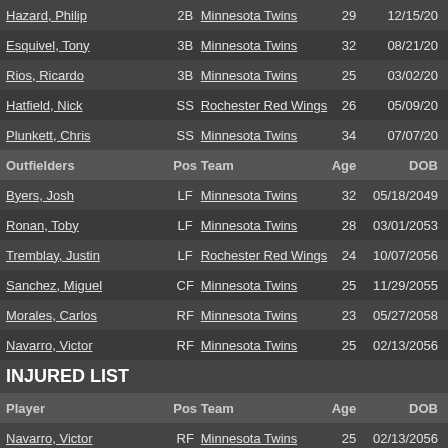| Player | Pos | Team | Age | DOB |
| --- | --- | --- | --- | --- |
| Hazard, Philip | 2B | Minnesota Twins | 29 | 12/15/20... |
| Esquivel, Tony | 3B | Minnesota Twins | 32 | 08/21/20... |
| Rios, Ricardo | 3B | Minnesota Twins | 25 | 03/02/20... |
| Hatfield, Nick | SS | Rochester Red Wings | 26 | 05/09/20... |
| Plunkett, Chris | SS | Minnesota Twins | 34 | 07/07/20... |
Outfielders
| Player | Pos | Team | Age | DOB |
| --- | --- | --- | --- | --- |
| Byers, Josh | LF | Minnesota Twins | 32 | 05/18/2049 |
| Ronan, Toby | LF | Minnesota Twins | 28 | 03/01/2053 |
| Tremblay, Justin | LF | Rochester Red Wings | 24 | 10/07/2056 |
| Sanchez, Miguel | CF | Minnesota Twins | 25 | 11/29/2055 |
| Morales, Carlos | RF | Minnesota Twins | 23 | 05/27/2058 |
| Navarro, Victor | RF | Minnesota Twins | 25 | 02/13/2056 |
INJURED LIST
| Player | Pos | Team | Age | DOB |
| --- | --- | --- | --- | --- |
| Navarro, Victor | RF | Minnesota Twins | 25 | 02/13/2056 |
DESIGNATED FOR ASSIGNMENT
| Player | Pos | Team | Age | DOB |
| --- | --- | --- | --- | --- |
Monday, August 22n...